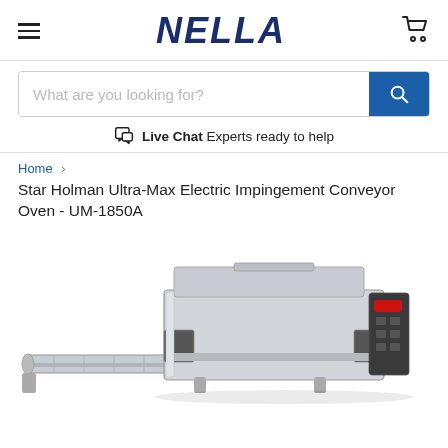NELLA — navigation header with hamburger menu and cart icon
What are you looking for?
Live Chat  Experts ready to help
Home > Star Holman Ultra-Max Electric Impingement Conveyor Oven - UM-1850A
Star Holman Ultra-Max Electric Impingement Conveyor Oven - UM-1850A
[Figure (photo): Star Holman Ultra-Max Electric Impingement Conveyor Oven UM-1850A, stainless steel commercial conveyor oven with digital controls on right side, conveyor belt extending to left, viewed from slight angle]